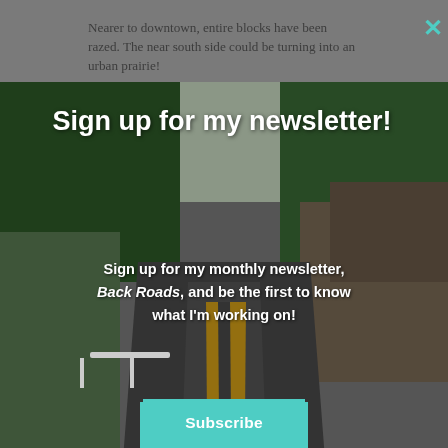Nearer to downtown, entire blocks have been razed. The near south side could be turning into an urban prairie!
[Figure (photo): Newsletter signup modal overlay showing a winding road through green trees with text and subscribe button]
Sign up for my newsletter!
Sign up for my monthly newsletter, Back Roads, and be the first to know what I'm working on!
Subscribe
Never see this message again
I can tell that this urban area is at risk of being gentrified, and still boarded up.)